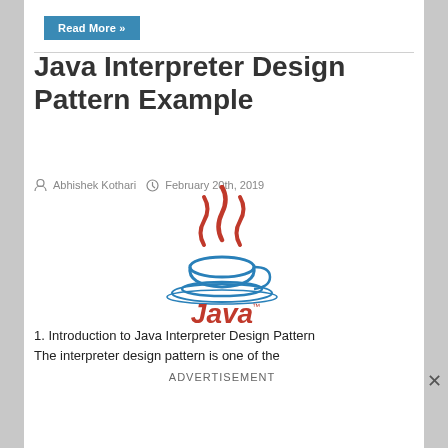Read More »
Java Interpreter Design Pattern Example
Abhishek Kothari   February 20th, 2019
[Figure (logo): Java programming language logo with red steam swirls above a blue coffee cup, with the word 'Java' in red below]
1. Introduction to Java Interpreter Design Pattern
The interpreter design pattern is one of the
ADVERTISEMENT
[Figure (photo): Advertisement banner showing a mobile app screenshot with Hold and Move text over outdoor winter scene]